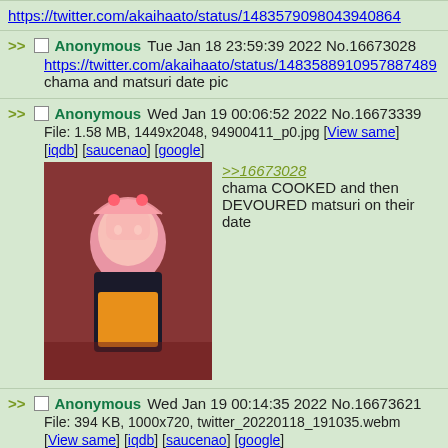https://twitter.com/akaihaato/status/148357909804394086...
>> Anonymous Tue Jan 18 23:59:39 2022 No.16673028
https://twitter.com/akaihaato/status/148358891095788748...
chama and matsuri date pic
>> Anonymous Wed Jan 19 00:06:52 2022 No.16673339
File: 1.58 MB, 1449x2048, 94900411_p0.jpg [View same] [iqdb] [saucenao] [google]
>>16673028
chama COOKED and then DEVOURED matsuri on their date
>> Anonymous Wed Jan 19 00:14:35 2022 No.16673621
File: 394 KB, 1000x720, twitter_20220118_191035.webm
[View same] [iqdb] [saucenao] [google]
I'm catching up on the karashi collab. My takeaway so far is that Haachama is scarier...